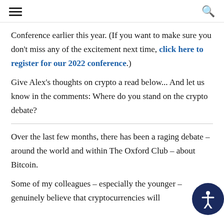[hamburger menu] [search icon]
Conference earlier this year. (If you want to make sure you don't miss any of the excitement next time, click here to register for our 2022 conference.)
Give Alex's thoughts on crypto a read below... And let us know in the comments: Where do you stand on the crypto debate?
Over the last few months, there has been a raging debate – around the world and within The Oxford Club – about Bitcoin.
Some of my colleagues – especially the younger – genuinely believe that cryptocurrencies will